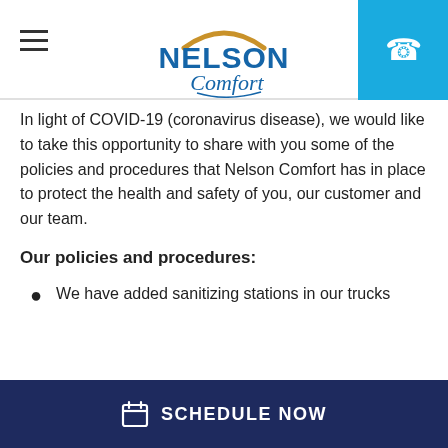[Figure (logo): Nelson Comfort logo with golden roof arch above 'NELSON' in blue bold text and 'Comfort' in blue script below]
In light of COVID-19 (coronavirus disease), we would like to take this opportunity to share with you some of the policies and procedures that Nelson Comfort has in place to protect the health and safety of you, our customer and our team.
Our policies and procedures:
We have added sanitizing stations in our trucks
SCHEDULE NOW